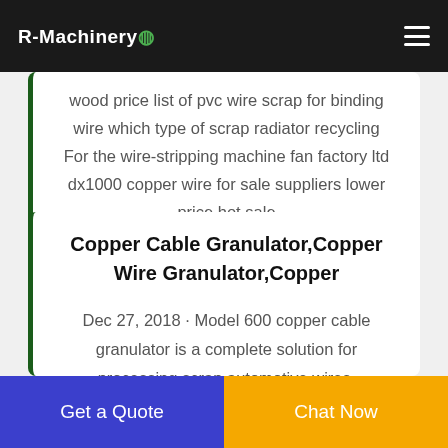R-Machinery
wood price list of pvc wire scrap for binding wire which type of scrap radiator recycling For the wire-stripping machine fan factory ltd dx1000 copper wire for sale suppliers lower price hot sale
Copper Cable Granulator,Copper Wire Granulator,Copper
Dec 27, 2018 · Model 600 copper cable granulator is a complete solution for processing scrap automotive wires, communication cables, and other miscellaneous wires and cables. By using this recycling machine, we can get pure copper granules and plastic
Get a Quote
Chat Now